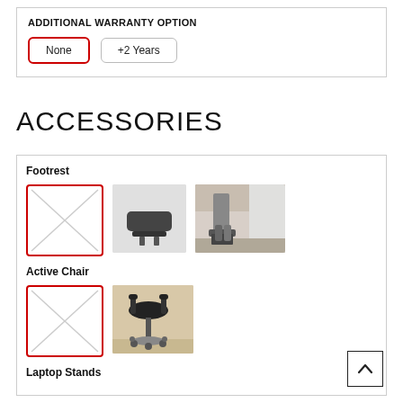ADDITIONAL WARRANTY OPTION
None | +2 Years
ACCESSORIES
Footrest
[Figure (photo): Footrest product section with: a red-bordered placeholder (no selection), a black ergonomic footrest product image, and a scene photo showing footrest in use under a desk]
Active Chair
[Figure (photo): Active Chair product section with: a red-bordered placeholder (no selection) and a saddle-style active chair product image]
Laptop Stands